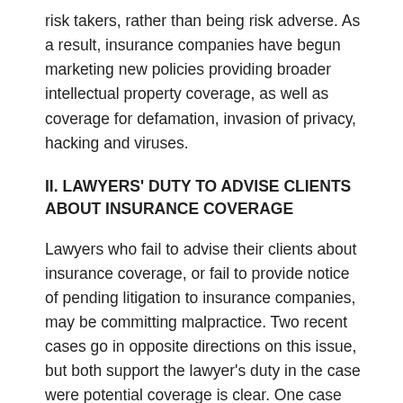risk takers, rather than being risk adverse. As a result, insurance companies have begun marketing new policies providing broader intellectual property coverage, as well as coverage for defamation, invasion of privacy, hacking and viruses.
II. LAWYERS' DUTY TO ADVISE CLIENTS ABOUT INSURANCE COVERAGE
Lawyers who fail to advise their clients about insurance coverage, or fail to provide notice of pending litigation to insurance companies, may be committing malpractice. Two recent cases go in opposite directions on this issue, but both support the lawyer's duty in the case were potential coverage is clear. One case from New York found that the lawyer did not have a duty to advise his client of potential coverage claims, while the other from California found lawyers guilty of malpractice due to their failure to advise their clients that insurance coverage was available.